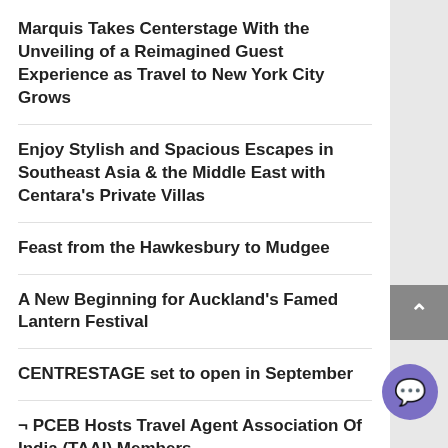Marquis Takes Centerstage With the Unveiling of a Reimagined Guest Experience as Travel to New York City Grows
Enjoy Stylish and Spacious Escapes in Southeast Asia & the Middle East with Centara's Private Villas
Feast from the Hawkesbury to Mudgee
A New Beginning for Auckland's Famed Lantern Festival
CENTRESTAGE set to open in September
¬ PCEB Hosts Travel Agent Association Of India (TAAI) Members
MEMORIAL IN OUTBACK QUEENSLAND